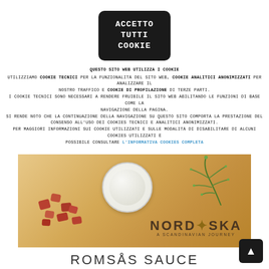[Figure (other): Cookie consent button: dark rounded box with text ACCETTO TUTTI COOKIE in monospace uppercase white text]
QUESTO SITO WEB UTILIZZA I COOKIE
UTILIZZIAMO COOKIE TECNICI PER LA FUNZIONALITÀ DEL SITO WEB, COOKIE ANALITICI ANONIMIZZATI PER ANALIZZARE IL NOSTRO TRAFFICO E COOKIE DI PROFILAZIONE DI TERZE PARTI.
I COOKIE TECNICI SONO NECESSARI A RENDERE FRUIBILE IL SITO WEB ABILITANDO LE FUNZIONI DI BASE COME LA NAVIGAZIONE DELLA PAGINA.
SI RENDE NOTO CHE LA CONTINUAZIONE DELLA NAVIGAZIONE SU QUESTO SITO COMPORTA LA PRESTAZIONE DEL CONSENSO ALL'USO DEI COOKIES TECNICI E ANALITICI ANONIMIZZATI.
PER MAGGIORI INFORMAZIONI SUI COOKIE UTILIZZATI E SULLE MODALITÀ DI DISABILITARE DI ALCUNI COOKIES UTILIZZATI È POSSIBILE CONSULTARE L'INFORMATIVA COOKIES COMPLETA
[Figure (photo): Photo of a wooden cutting board with smoked salmon pieces, a white bowl of cream sauce with dill, fresh dill herb, and Nordiska A Scandinavian Journey logo branding]
ROMSÅS SAUCE